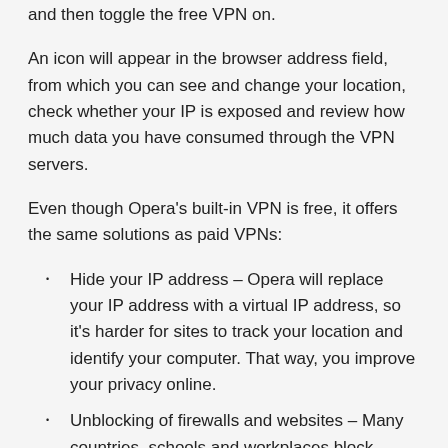and then toggle the free VPN on.
An icon will appear in the browser address field, from which you can see and change your location, check whether your IP is exposed and review how much data you have consumed through the VPN servers.
Even though Opera's built-in VPN is free, it offers the same solutions as paid VPNs:
Hide your IP address – Opera will replace your IP address with a virtual IP address, so it's harder for sites to track your location and identify your computer. That way, you improve your privacy online.
Unblocking of firewalls and websites – Many countries, schools and workplaces block video-streaming sites, social networks and other services. By using a VPN you can access your favorite content, not matter where you are.
Public Wi-Fi security – When you're surfing the web on public Wi-Fi, intruders can easily sniff data. By using a VPN, you can improve the security of your personal